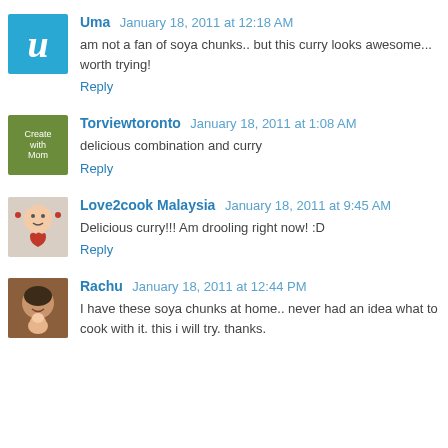Uma — January 18, 2011 at 12:18 AM
am not a fan of soya chunks.. but this curry looks awesome... worth trying!
Reply
Torviewtoronto — January 18, 2011 at 1:08 AM
delicious combination and curry
Reply
Love2cook Malaysia — January 18, 2011 at 9:45 AM
Delicious curry!!! Am drooling right now! :D
Reply
Rachu — January 18, 2011 at 12:44 PM
I have these soya chunks at home.. never had an idea what to cook with it. this i will try. thanks.